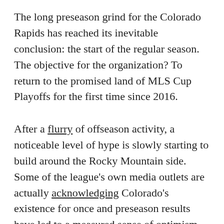The long preseason grind for the Colorado Rapids has reached its inevitable conclusion: the start of the regular season. The objective for the organization? To return to the promised land of MLS Cup Playoffs for the first time since 2016.
After a flurry of offseason activity, a noticeable level of hype is slowly starting to build around the Rocky Mountain side. Some of the league's own media outlets are actually acknowledging Colorado's existence for once and preseason results have led to a measured sense of optimism emanating from the